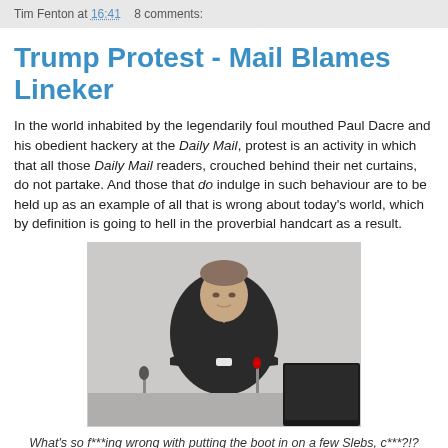Tim Fenton at 16:41    8 comments:
Trump Protest - Mail Blames Lineker
In the world inhabited by the legendarily foul mouthed Paul Dacre and his obedient hackery at the Daily Mail, protest is an activity in which that all those Daily Mail readers, crouched behind their net curtains, do not partake. And those that do indulge in such behaviour are to be held up as an example of all that is wrong about today's world, which by definition is going to hell in the proverbial handcart as a result.
[Figure (photo): A man in a dark suit with arms crossed sitting at a table with a microphone, appearing to be at a formal inquiry or hearing.]
What's so f***ing wrong with putting the boot in on a few Slebs, c***?!? Er, with the greatest of respect, Mr Jay